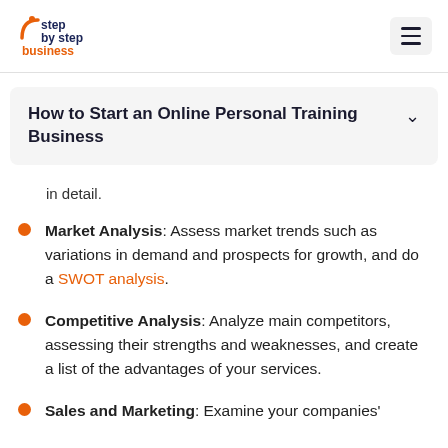step by step business
How to Start an Online Personal Training Business
in detail.
Market Analysis: Assess market trends such as variations in demand and prospects for growth, and do a SWOT analysis.
Competitive Analysis: Analyze main competitors, assessing their strengths and weaknesses, and create a list of the advantages of your services.
Sales and Marketing: Examine your companies'